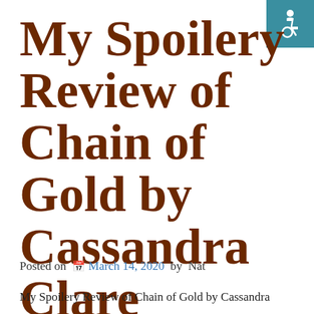[Figure (logo): Accessibility wheelchair icon badge in teal/blue square, top-right corner]
My Spoilery Review of Chain of Gold by Cassandra Clare
Posted on 📅 March 14, 2020 by Nat
My Spoilery Review of Chain of Gold by Cassandra